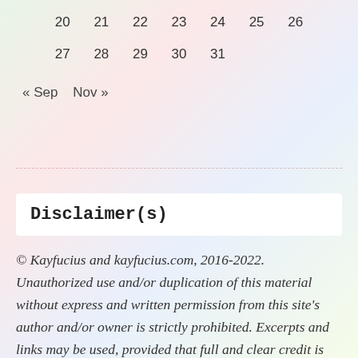| 20 | 21 | 22 | 23 | 24 | 25 | 26 |
| 27 | 28 | 29 | 30 | 31 |  |  |
« Sep    Nov »
Disclaimer(s)
© Kayfucius and kayfucius.com, 2016-2022. Unauthorized use and/or duplication of this material without express and written permission from this site's author and/or owner is strictly prohibited. Excerpts and links may be used, provided that full and clear credit is given to Kayfucius and